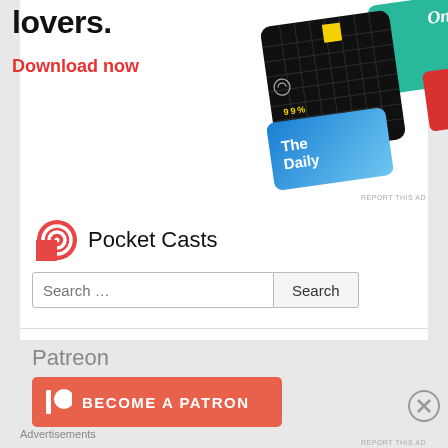lovers.
Download now
[Figure (illustration): Pocket Casts app advertisement showing podcast app cards including 99% Invisible (black card with yellow square), a green card, a blue 'The Daily' card, and a red card, arranged at an angle]
Pocket Casts
Search …
Patreon
[Figure (logo): Patreon 'BECOME A PATRON' button in orange-red with Patreon logo icon (vertical bar and circle)]
Advertisements